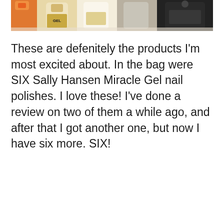[Figure (photo): Close-up photo of Sally Hansen Miracle Gel nail polish bottles including orange, cream/beige, and dark bottles against a white background]
These are defenitely the products I'm most excited about. In the bag were SIX Sally Hansen Miracle Gel nail polishes. I love these! I've done a review on two of them a while ago, and after that I got another one, but now I have six more. SIX!